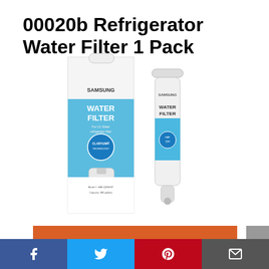00020b Refrigerator Water Filter 1 Pack
[Figure (photo): Samsung Water Filter product shown next to its packaging box. The box has blue design with SAMSUNG WATER FILTER branding. The filter itself is a white cylindrical cartridge.]
CHECK PRICE
[Figure (infographic): Social media share bar at the bottom with Facebook (blue), Twitter (light blue), Pinterest (red), and email (dark gray) icons]